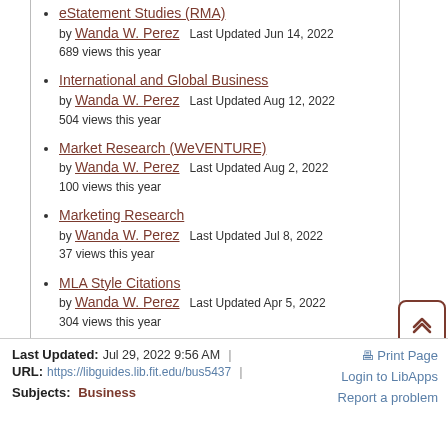eStatement Studies (RMA) by Wanda W. Perez  Last Updated Jun 14, 2022  689 views this year
International and Global Business by Wanda W. Perez  Last Updated Aug 12, 2022  504 views this year
Market Research (WeVENTURE) by Wanda W. Perez  Last Updated Aug 2, 2022  100 views this year
Marketing Research by Wanda W. Perez  Last Updated Jul 8, 2022  37 views this year
MLA Style Citations by Wanda W. Perez  Last Updated Apr 5, 2022  304 views this year
Last Updated: Jul 29, 2022 9:56 AM  |  URL: https://libguides.lib.fit.edu/bus5437  |  Print Page  Login to LibApps  Report a problem  Subjects: Business